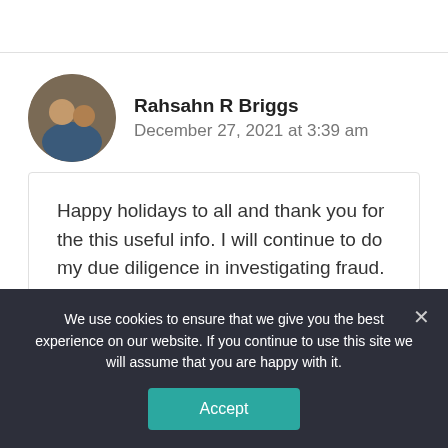Rahsahn R Briggs
December 27, 2021 at 3:39 am
Happy holidays to all and thank you for the this useful info. I will continue to do my due diligence in investigating fraud.
Reply
We use cookies to ensure that we give you the best experience on our website. If you continue to use this site we will assume that you are happy with it.
Accept